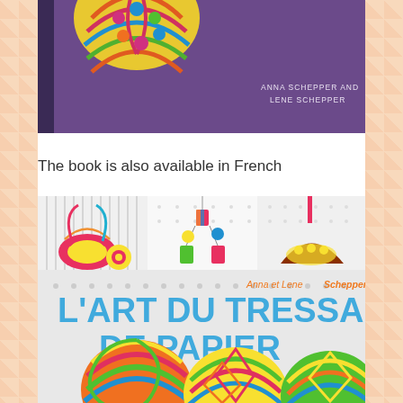[Figure (photo): Top portion of a book cover showing colorful paper woven balls on a purple background with text 'ANNA SCHEPPER AND LENE SCHEPPER']
The book is also available in French
[Figure (photo): Cover of French edition book 'L'ART DU TRESSAGE DE PAPIER' by Anna et Lene Schepper, showing colorful paper woven crafts including baskets, hanging decorations, and woven balls]